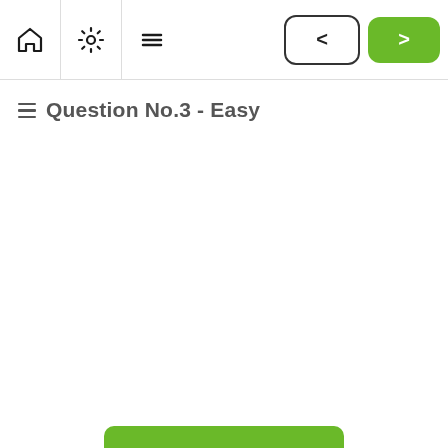Navigation bar with home, settings, list, back and next buttons
Question No.3 - Easy
[Figure (screenshot): Partially visible green button at the bottom of the screen]